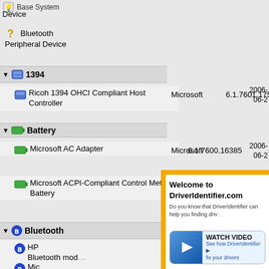Base System Device
Bluetooth Peripheral Device
1394
Ricoh 1394 OHCI Compliant Host Controller | Microsoft | 6.1.7601.17514 | 2006-02
Battery
Microsoft AC Adapter | Microsoft | 6.1.7600.16385 | 2006-02
Microsoft ACPI-Compliant Control Method Battery | Microsoft | 6.1.7600.16385 | 2006-02
Bluetooth
HP Bluetooth module
Microsoft Bluetooth Enumerator
Display
NVIDIA 8400M GS
hdc
[Figure (screenshot): Welcome to DriverIdentifier.com ad overlay with Watch Video button]